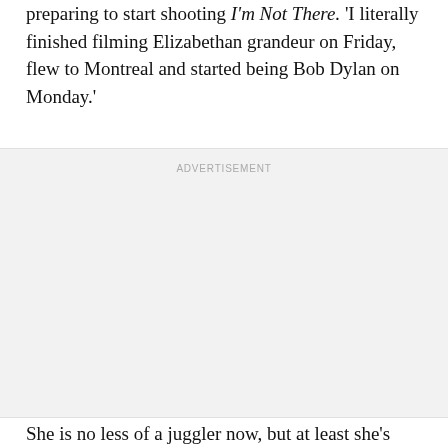preparing to start shooting I'm Not There. 'I literally finished filming Elizabethan grandeur on Friday, flew to Montreal and started being Bob Dylan on Monday.'
ADVERTISEMENT
She is no less of a juggler now, but at least she's more